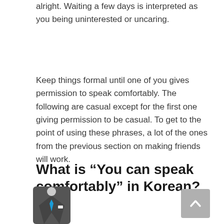alright. Waiting a few days is interpreted as you being uninterested or uncaring.
Keep things formal until one of you gives permission to speak comfortably. The following are casual except for the first one giving permission to be casual. To get to the point of using these phrases, a lot of the ones from the previous section on making friends will work.
What is “You can speak comfortably” in Korean?
[Figure (illustration): Icon of a person in a suit with a blue tie, shown from the chest up, no visible head/face.]
[Figure (other): Gray scroll-to-top button with an upward chevron arrow.]